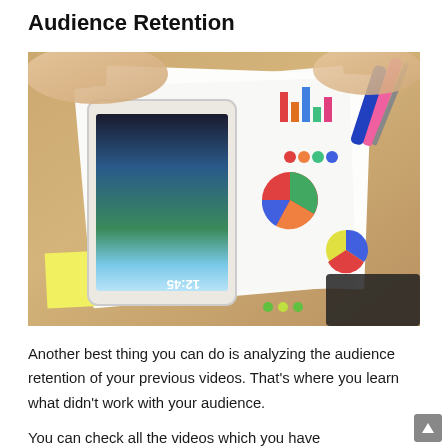Audience Retention
[Figure (photo): Overhead photo of a wooden desk with hands holding a tablet/phone showing a colorful screen, surrounded by papers with charts and graphs (pie charts, bar charts), sticky notes, and markers including a pink highlighter and blue marker.]
Another best thing you can do is analyzing the audience retention of your previous videos. That’s where you learn what didn’t work with your audience.
You can check all the videos which you have